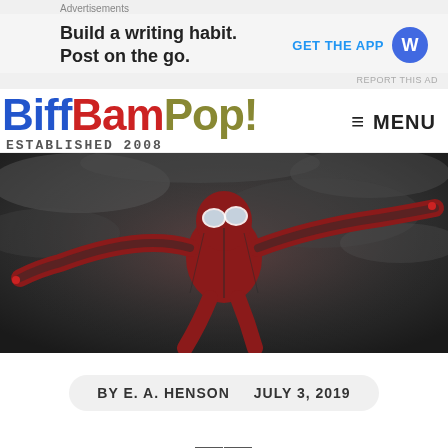Advertisements
Build a writing habit. Post on the go.  GET THE APP  [WordPress icon]
REPORT THIS AD
[Figure (logo): BiffBamPop! logo with ESTABLISHED 2008 subtitle. BIFF in blue, BAM in red, POP! in olive/dark yellow.]
MENU
[Figure (photo): Spider-Man in red and black suit flying/gliding through a dramatic cloudy grey sky, arms outstretched.]
BY E. A. HENSON   JULY 3, 2019